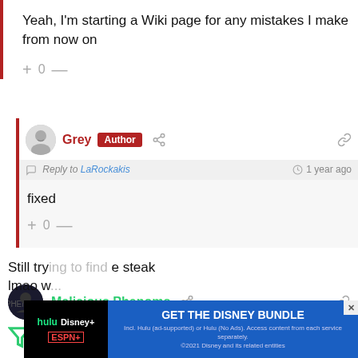Yeah, I'm starting a Wiki page for any mistakes I make from now on
+ 0 —
Grey Author
Reply to LaRockakis   1 year ago
fixed
+ 0 —
Malicious Phenoms
1 year ago
Still try... the steak lmao w...
[Figure (other): Hulu Disney+ ESPN+ GET THE DISNEY BUNDLE advertisement banner]